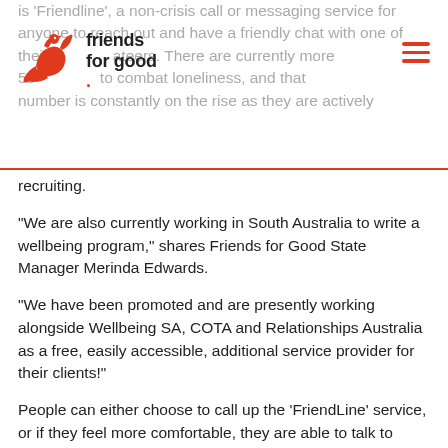Friends for Good
is 'Friendline', a non-crisis call or messaging service for anyone to reach out and have a friendly chat with one of their volunteers. There are currently more than 500 people working to combat loneliness, and that number is constantly on the rise as they are actively recruiting.
“We are also currently working in South Australia to write a wellbeing program,” shares Friends for Good State Manager Merinda Edwards.
“We have been promoted and are presently working alongside Wellbeing SA, COTA and Relationships Australia as a free, easily accessible, additional service provider for their clients!”
People can either choose to call up the ‘FriendLine’ service, or if they feel more comfortable, they are able to talk to someone online through their online chat feature.
Friends for Good have seen a huge increase in demand for their services over since the pandemic, with lockdowns